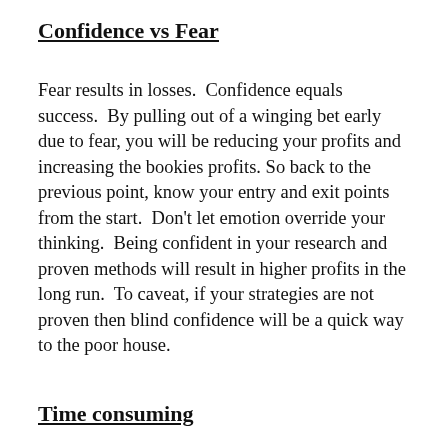Confidence vs Fear
Fear results in losses.  Confidence equals success.  By pulling out of a winging bet early due to fear, you will be reducing your profits and increasing the bookies profits. So back to the previous point, know your entry and exit points from the start.  Don't let emotion override your thinking.  Being confident in your research and proven methods will result in higher profits in the long run.  To caveat, if your strategies are not proven then blind confidence will be a quick way to the poor house.
Time consuming
Don't expect to jump straight in and make lots of money. Being profitable long term is very time consuming.  Don't expect to spend 5 minutes looking at form or previous results and expect to pick a winner.  To make money, you